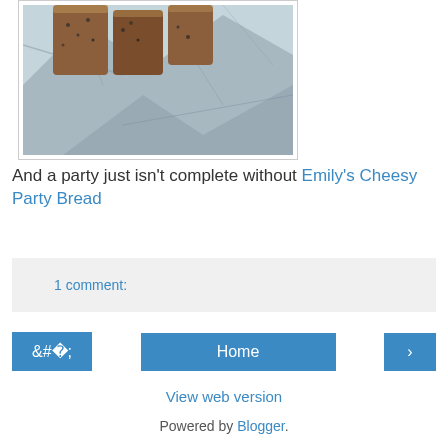[Figure (photo): Photo of cheesy party bread wrapped in aluminum foil, viewed from above, showing bread with toppings on crinkled foil.]
And a party just isn't complete without Emily's Cheesy Party Bread
1 comment:
Home
View web version
Powered by Blogger.